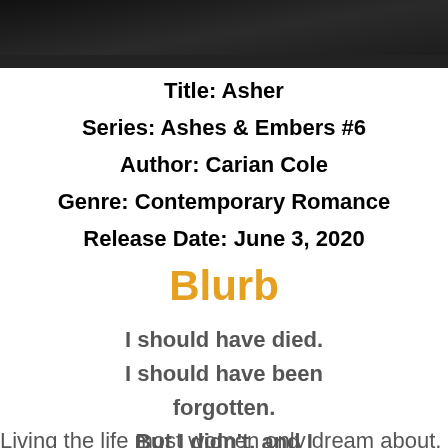[Figure (photo): Dark background image, appears to be a person or dark scene, partially cropped at top of page]
Title: Asher
Series: Ashes & Embers #6
Author: Carian Cole
Genre: Contemporary Romance
Release Date: June 3, 2020
Blurb
I should have died.
I should have been forgotten.
But I didn't, and I wasn't.
Living the life most women only dream about, I was